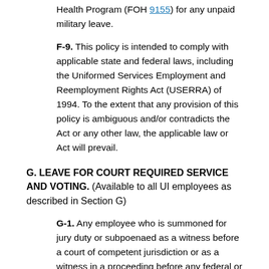Health Program (FOH 9155) for any unpaid military leave.
F-9. This policy is intended to comply with applicable state and federal laws, including the Uniformed Services Employment and Reemployment Rights Act (USERRA) of 1994. To the extent that any provision of this policy is ambiguous and/or contradicts the Act or any other law, the applicable law or Act will prevail.
G. LEAVE FOR COURT REQUIRED SERVICE AND VOTING. (Available to all UI employees as described in Section G)
G-1. Any employee who is summoned for jury duty or subpoenaed as a witness before a court of competent jurisdiction or as a witness in a proceeding before any federal or state administrative agency will be granted leave.